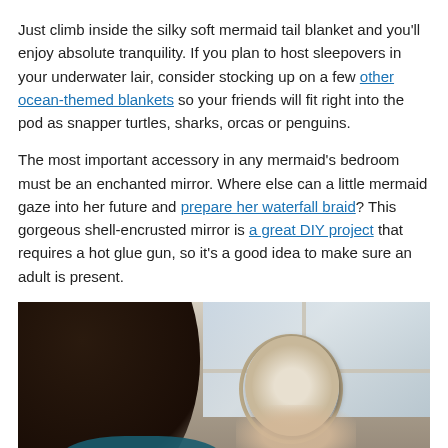Just climb inside the silky soft mermaid tail blanket and you'll enjoy absolute tranquility. If you plan to host sleepovers in your underwater lair, consider stocking up on a few other ocean-themed blankets so your friends will fit right into the pod as snapper turtles, sharks, orcas or penguins.
The most important accessory in any mermaid's bedroom must be an enchanted mirror. Where else can a little mermaid gaze into her future and prepare her waterfall braid? This gorgeous shell-encrusted mirror is a great DIY project that requires a hot glue gun, so it's a good idea to make sure an adult is present.
[Figure (photo): A woman holding a round shell-encrusted mirror, looking at her reflection. She has dark brown hair and is wearing a teal/blue top. The photo is taken near a window with a light-colored sill.]